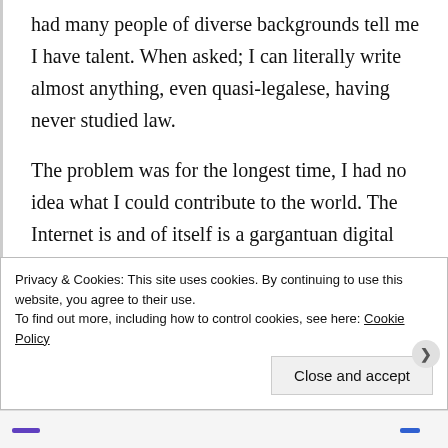had many people of diverse backgrounds tell me I have talent. When asked; I can literally write almost anything, even quasi-legalese, having never studied law.
The problem was for the longest time, I had no idea what I could contribute to the world. The Internet is and of itself is a gargantuan digital publication platform where people are publishing things all the time. With all this saturation of voices, is there something unique that I
Privacy & Cookies: This site uses cookies. By continuing to use this website, you agree to their use.
To find out more, including how to control cookies, see here: Cookie Policy
Close and accept